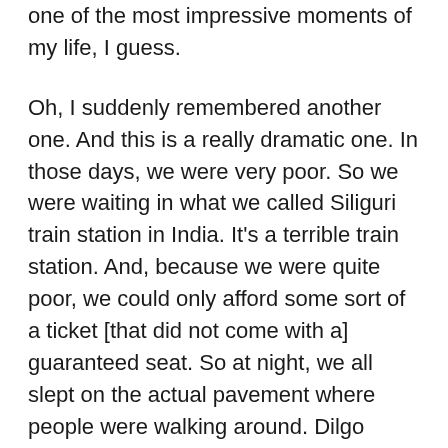one of the most impressive moments of my life, I guess.
Oh, I suddenly remembered another one. And this is a really dramatic one. In those days, we were very poor. So we were waiting in what we called Siliguri train station in India. It's a terrible train station. And, because we were quite poor, we could only afford some sort of a ticket [that did not come with a] guaranteed seat. So at night, we all slept on the actual pavement where people were walking around. Dilgo Khyentse Rinpoche too. Our train was at two in the morning or something like this, so we had to just wait there.
The night came and then there were not many people. And there was also a family of villagers